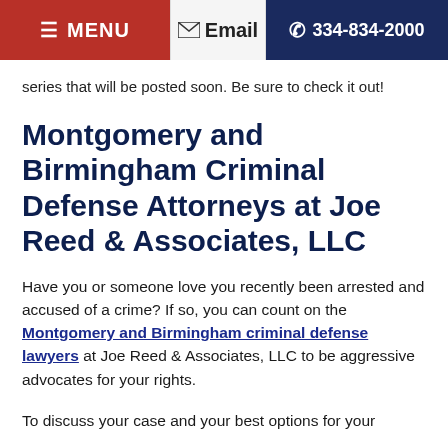☰ MENU  ✉ Email  ☎ 334-834-2000
series that will be posted soon. Be sure to check it out!
Montgomery and Birmingham Criminal Defense Attorneys at Joe Reed & Associates, LLC
Have you or someone love you recently been arrested and accused of a crime? If so, you can count on the Montgomery and Birmingham criminal defense lawyers at Joe Reed & Associates, LLC to be aggressive advocates for your rights.
To discuss your case and your best options for your